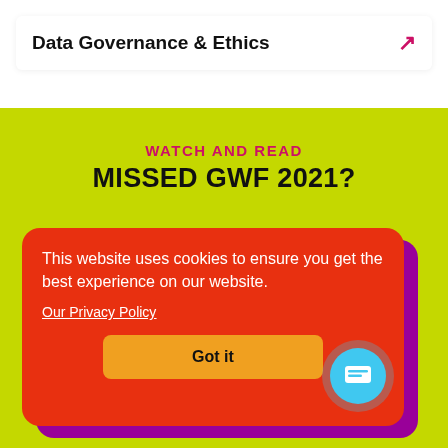Data Governance & Ethics
WATCH AND READ
MISSED GWF 2021?
This website uses cookies to ensure you get the best experience on our website.
Our Privacy Policy
Got it